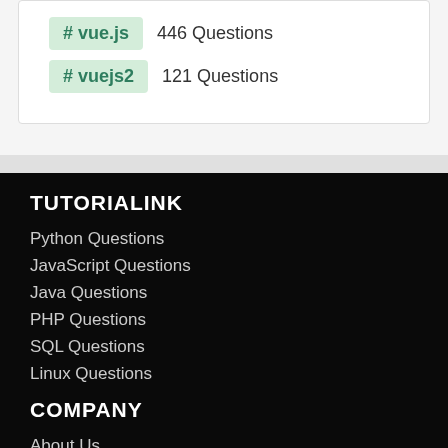# vue.js 446 Questions
# vuejs2 121 Questions
TUTORIALINK
Python Questions
JavaScript Questions
Java Questions
PHP Questions
SQL Questions
Linux Questions
COMPANY
About Us
Contact Us
BUSINESS ENQUIRY